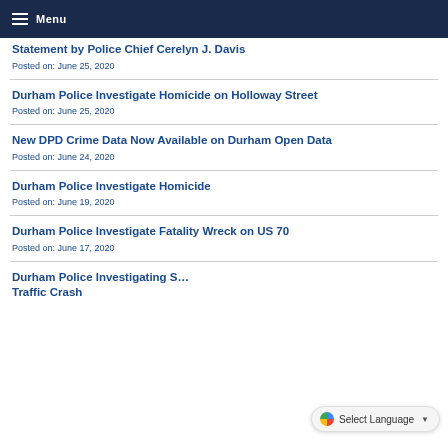Menu
Statement by Police Chief Cerelyn J. Davis
Posted on: June 25, 2020
Durham Police Investigate Homicide on Holloway Street
Posted on: June 25, 2020
New DPD Crime Data Now Available on Durham Open Data
Posted on: June 24, 2020
Durham Police Investigate Homicide
Posted on: June 19, 2020
Durham Police Investigate Fatality Wreck on US 70
Posted on: June 17, 2020
Durham Police Investigating S... Traffic Crash